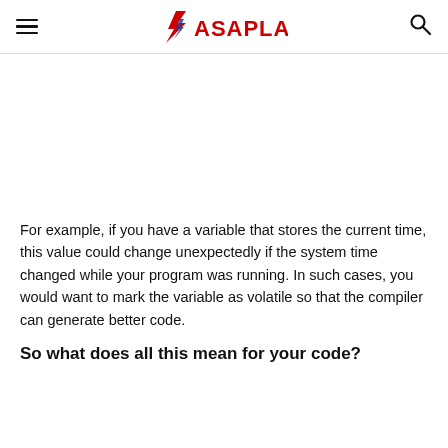ASAPLAND
For example, if you have a variable that stores the current time, this value could change unexpectedly if the system time changed while your program was running. In such cases, you would want to mark the variable as volatile so that the compiler can generate better code.
So what does all this mean for your code?